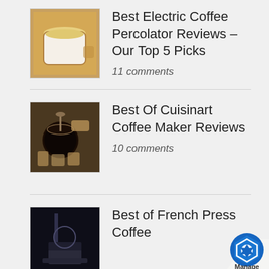[Figure (photo): Thumbnail image of a white coffee cup with light-colored liquid, representing electric coffee percolator]
Best Electric Coffee Percolator Reviews – Our Top 5 Picks
11 comments
[Figure (photo): Thumbnail image of a white coffee mug filled with dark coffee and a spoon, surrounded by cookies, representing Cuisinart coffee maker]
Best Of Cuisinart Coffee Maker Reviews
10 comments
[Figure (photo): Thumbnail image of a French press coffee maker on dark background]
Best of French Press Coffee